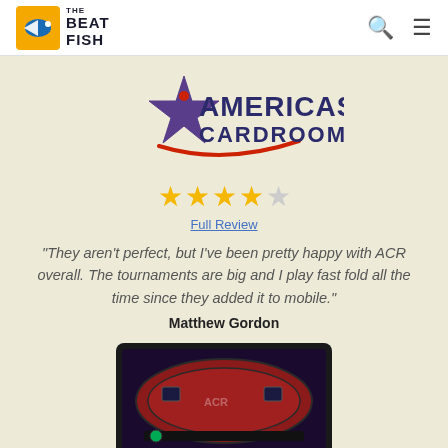Beat The Fish
[Figure (logo): Americas Cardroom logo with star and red swoosh]
[Figure (other): 4 out of 5 stars rating]
Full Review
"They aren't perfect, but I've been pretty happy with ACR overall. The tournaments are big and I play fast fold all the time since they added it to mobile."
Matthew Gordon
[Figure (screenshot): Tablet showing Americas Cardroom poker table interface]